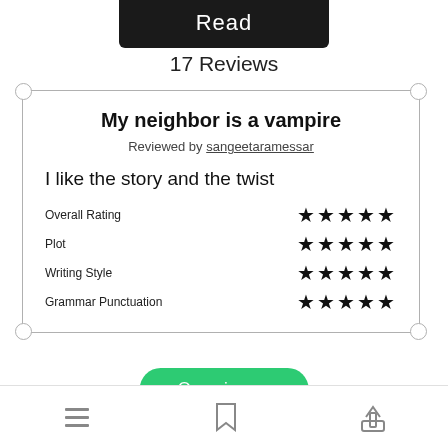Read
17 Reviews
My neighbor is a vampire
Reviewed by sangeetaramessar
I like the story and the twist
Overall Rating ★★★★★
Plot ★★★★★
Writing Style ★★★★★
Grammar Punctuation ★★★★★
Open in app